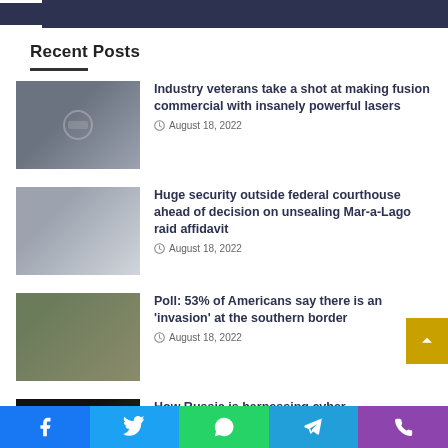Recent Posts
Recent Posts
[Figure (photo): Industry worker near large machinery]
Industry veterans take a shot at making fusion commercial with insanely powerful lasers
August 18, 2022
[Figure (photo): Federal courthouse building with US flag]
Huge security outside federal courthouse ahead of decision on unsealing Mar-a-Lago raid affidavit
August 18, 2022
[Figure (photo): Aerial view of crowd at southern border]
Poll: 53% of Americans say there is an 'invasion' at the southern border
August 18, 2022
[Figure (photo): Hands on keyboard with green code — cyber warfare]
How Russia is harnessing cyber warfare in its conflict with Ukraine
Facebook Twitter WhatsApp Telegram Phone